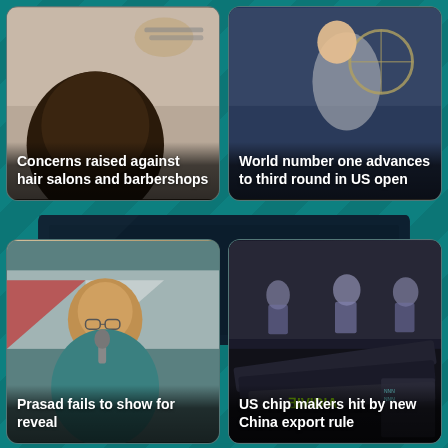[Figure (photo): Person getting hair cut at a barber, scissors visible above dark hair]
Concerns raised against hair salons and barbershops
[Figure (photo): Female tennis player with racket, blurred crowd background, US Open]
World number one advances to third round in US open
[Figure (screenshot): Dark rectangular banner/advertisement area in the middle of the page]
[Figure (photo): Man with glasses and blue patterned shirt speaking at a microphone, colorful banner background]
Prasad fails to show for reveal
[Figure (photo): NVIDIA GPU cards displayed at a tech exhibition, people wearing masks visible in background]
US chip makers hit by new China export rule